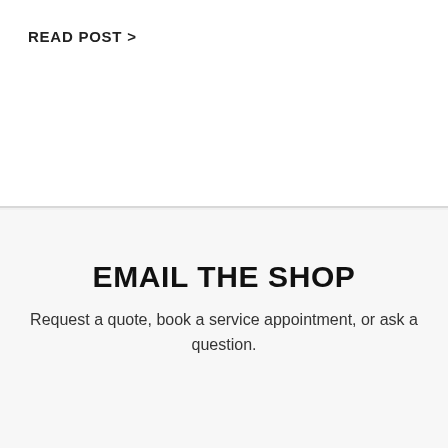READ POST >
EMAIL THE SHOP
Request a quote, book a service appointment, or ask a question.